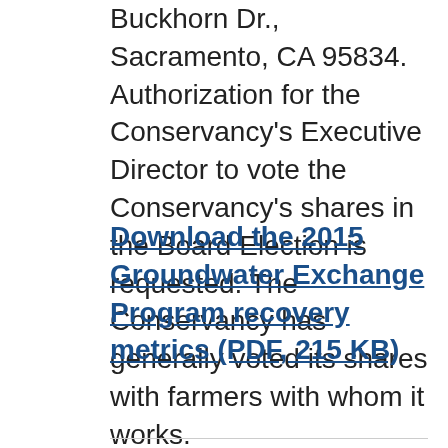Buckhorn Dr., Sacramento, CA 95834. Authorization for the Conservancy's Executive Director to vote the Conservancy's shares in the Board Election is requested. The Conservancy has generally voted its shares with farmers with whom it works.
Download the 2015 Groundwater Exchange Program recovery metrics (PDF, 215 KB)